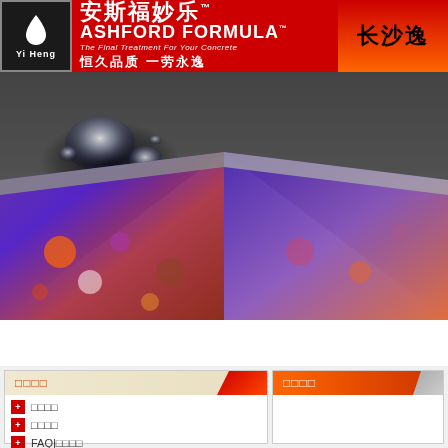[Figure (logo): YiHeng logo with white droplet on black/dark background]
安斯福妙乐™ ASHFORD FORMULA™ The Final Treatment For Your Concrete 恒久品质 一劳永逸
长沙逸
[Figure (photo): Cross-section of concrete slab with water droplets on surface, showing colorful aggregate layers]
网站首页 HOME | 公司简介 ABOUT US | 技术资料 PROPERTY
□□□□
□□□□
□□□□
□□□□
FAQ|□□□□